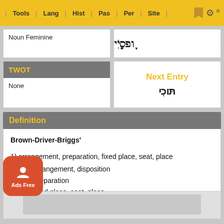Tools | Lang | Hist | Pas | Per | Site
Noun Feminine
TWOT
None
Next Entry
תּוֹכִי
Definition
Brown-Driver-Briggs'
1) arrangement, preparation, fixed place, seat, place
1a) arrangement, disposition
1b) preparation
1c) fixed place, seat, place